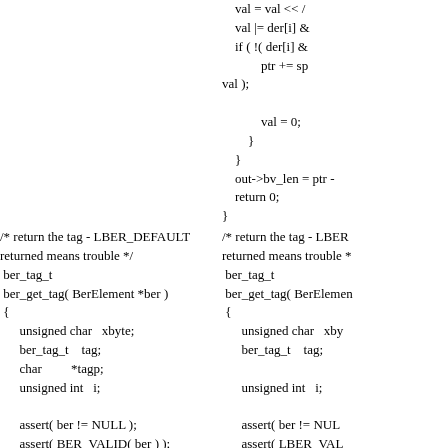val = val << /
val |= der[i] &
if ( !( der[i] &
    ptr += sp
val );
        val = 0;
    }
}
out->bv_len = ptr -
return 0;
}
/* return the tag - LBER_DEFAULT
returned means trouble */
 ber_tag_t
 ber_get_tag( BerElement *ber )
 {
      unsigned char   xbyte;
      ber_tag_t    tag;
      char         *tagp;
      unsigned int   i;

      assert( ber != NULL );
      assert( BER_VALID( ber ) );
/* return the tag - LBER
returned means trouble *
 ber_tag_t
 ber_get_tag( BerElemen
 {
      unsigned char   xby
      ber_tag_t    tag;

      unsigned int   i;

      assert( ber != NUL
      assert( LBER_VAL